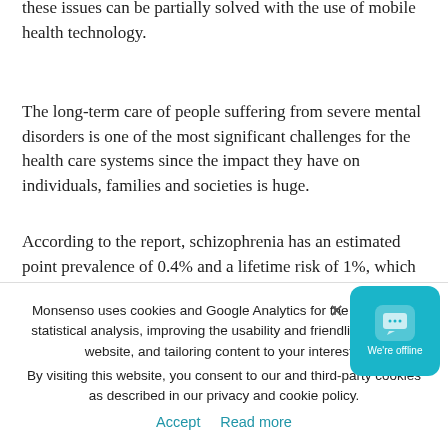these issues can be partially solved with the use of mobile health technology.
The long-term care of people suffering from severe mental disorders is one of the most significant challenges for the health care systems since the impact they have on individuals, families and societies is huge.
According to the report, schizophrenia has an estimated point prevalence of 0.4% and a lifetime risk of 1%, which means that 1 in every 100 people will suffer from schizophrenia during their lifetime. It is the 7th most important illness in terms of years lived with disability, accounting for 1.6% of disability caused by all illnesses. For people aged 15 to 44 years, it is the 3rd most important disease, accounting for 4.9% of disability resulting from all illnesses.
During the last few decades, the European
Monsenso uses cookies and Google Analytics for the purpose of statistical analysis, improving the usability and friendliness of our website, and tailoring content to your interests.
By visiting this website, you consent to our and third-party cookies as described in our privacy and cookie policy.
Accept   Read more